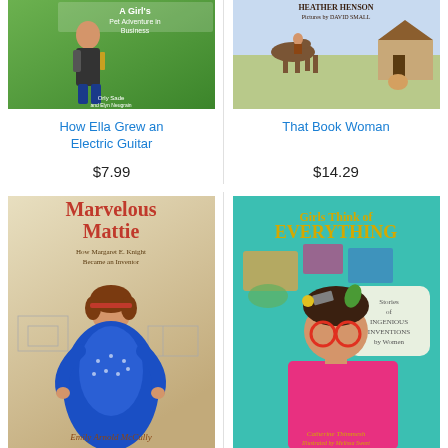[Figure (illustration): Book cover: How Ella Grew an Electric Guitar - green cover with illustrated girl]
How Ella Grew an Electric Guitar
$7.99
[Figure (illustration): Book cover: That Book Woman - earthy toned illustrated cover with Heather Henson, pictures by David Small]
That Book Woman
$14.29
[Figure (illustration): Book cover: Marvelous Mattie: How Margaret E. Knight Became an Inventor by Emily Arnold McCully - beige cover with girl in blue dress]
Marvelous Mattie: How Margaret E. Knight Became
[Figure (illustration): Book cover: Girls Think of Everything: Stories of Ingenious Inventions by Women - teal cover with illustrated woman wearing glasses]
Girls Think of Everything: Stories of Ingenious